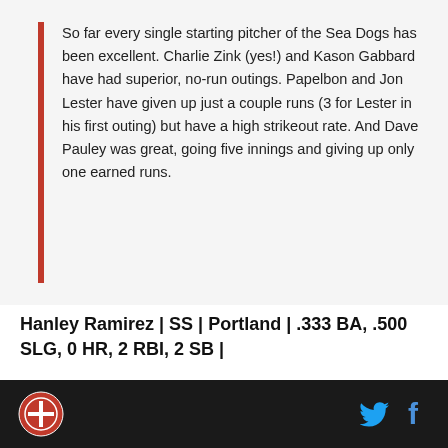So far every single starting pitcher of the Sea Dogs has been excellent. Charlie Zink (yes!) and Kason Gabbard have had superior, no-run outings. Papelbon and Jon Lester have given up just a couple runs (3 for Lester in his first outing) but have a high strikeout rate. And Dave Pauley was great, going five innings and giving up only one earned runs.
Hanley Ramirez | SS | Portland | .333 BA, .500 SLG, 0 HR, 2 RBI, 2 SB |
Ramirez has been hot so far this year, and we may be able to contribute Dustin Pedroia's (see below)